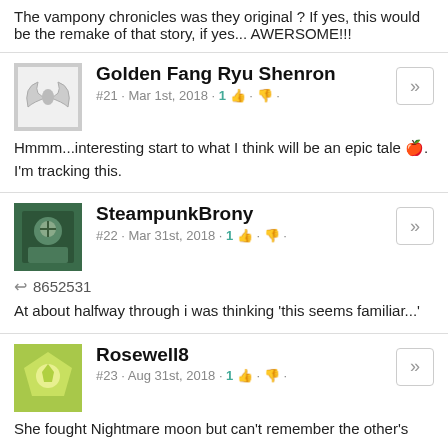The vampony chronicles was they original ? If yes, this would be the remake of that story, if yes... AWERSOME!!!
Golden Fang Ryu Shenron
#21 · Mar 1st, 2018 · 1 👍 👎
Hmmm...interesting start to what I think will be an epic tale 🍎. I'm tracking this.
SteampunkBrony
#22 · Mar 31st, 2018 · 1 👍 👎
↩ 8652531
At about halfway through i was thinking 'this seems familiar...'
Rosewell8
#23 · Aug 31st, 2018 · 1 👍 👎
She fought Nightmare moon but can't remember the other's